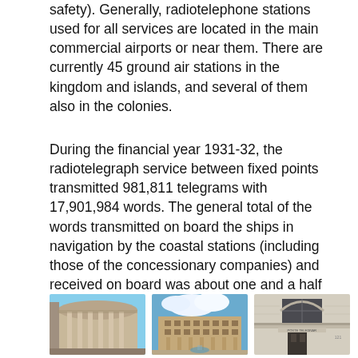safety). Generally, radiotelephone stations used for all services are located in the main commercial airports or near them. There are currently 45 ground air stations in the kingdom and islands, and several of them also in the colonies.
During the financial year 1931-32, the radiotelegraph service between fixed points transmitted 981,811 telegrams with 17,901,984 words. The general total of the words transmitted on board the ships in navigation by the coastal stations (including those of the concessionary companies) and received on board was about one and a half million.
[Figure (photo): Three photographs of government/postal telegraph buildings: left shows a curved modernist building with columns, center shows a large square building with a fountain in a plaza, right shows the entrance of a post and telegraph office building.]